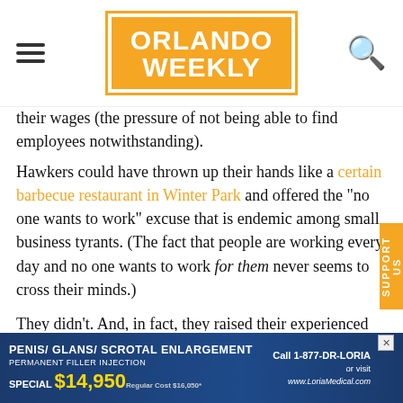Orlando Weekly
their wages (the pressure of not being able to find employees notwithstanding).
Hawkers could have thrown up their hands like a certain barbecue restaurant in Winter Park and offered the "no one wants to work" excuse that is endemic among small business tyrants. (The fact that people are working every day and no one wants to work for them never seems to cross their minds.)
They didn't. And, in fact, they raised their experienced employees' wages as well to compensate for the new floor. Nearly three-quarters of all employees saw a raise. That's undoubtedly a good thing and, while it was done to ease
[Figure (advertisement): Blue banner ad for Penis/Glans/Scrotal Enlargement - Permanent Filler Injection. Special $14,950. Regular Cost $16,050. Call 1-877-DR-LORIA or visit www.LoriaMedical.com]